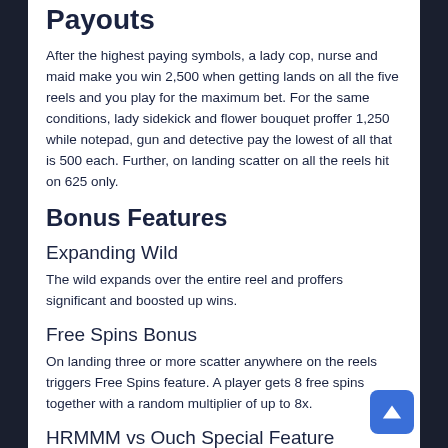Payouts
After the highest paying symbols, a lady cop, nurse and maid make you win 2,500 when getting lands on all the five reels and you play for the maximum bet. For the same conditions, lady sidekick and flower bouquet proffer 1,250 while notepad, gun and detective pay the lowest of all that is 500 each. Further, on landing scatter on all the reels hit on 625 only.
Bonus Features
Expanding Wild
The wild expands over the entire reel and proffers significant and boosted up wins.
Free Spins Bonus
On landing three or more scatter anywhere on the reels triggers Free Spins feature. A player gets 8 free spins together with a random multiplier of up to 8x.
HRMMM vs Ouch Special Feature
On landing detective on reel 3 together with any of the four beautiful ladies on reels 2 and 4 unlatch HRMMM vs Ouch Special feature. Stately detective selects one of the girls on reels 2 and 4 that will reveal an instant cash prize for you.